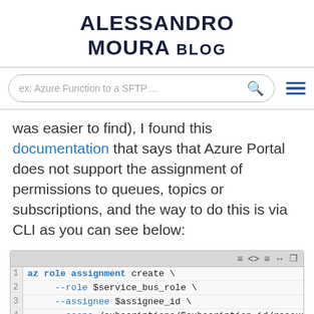ALESSANDRO MOURA BLOG
ex: Azure Function to a SFTP ...
was easier to find), I found this documentation that says that Azure Portal does not support the assignment of permissions to queues, topics or subscriptions, and the way to do this is via CLI as you can see below:
[Figure (screenshot): Code block showing Azure CLI command: az role assignment create \ --role $service_bus_role \ --assignee $assignee_id \ --scope /subscriptions/$subscription_id/resourceGroups...]
Summary